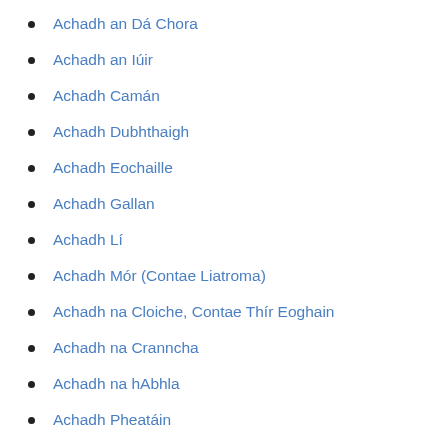Achadh an Dá Chora
Achadh an Iúir
Achadh Camán
Achadh Dubhthaigh
Achadh Eochaille
Achadh Gallan
Achadh Lí
Achadh Mór (Contae Liatroma)
Achadh na Cloiche, Contae Thír Eoghain
Achadh na Cranncha
Achadh na hAbhla
Achadh Pheatáin